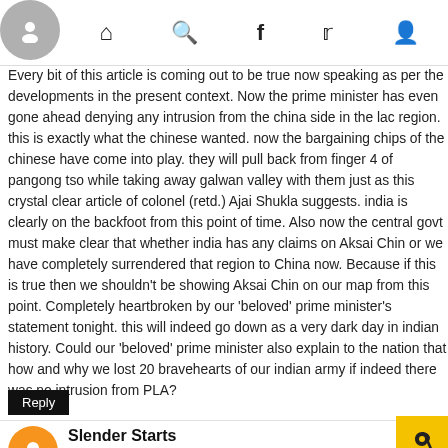Navigation bar with home, search, facebook, twitter, profile icons
19 June 2020 at 11:27
Every bit of this article is coming out to be true now speaking as per the developments in the present context. Now the prime minister has even gone ahead denying any intrusion from the china side in the lac region. this is exactly what the chinese wanted. now the bargaining chips of the chinese have come into play. they will pull back from finger 4 of pangong tso while taking away galwan valley with them just as this crystal clear article of colonel (retd.) Ajai Shukla suggests. india is clearly on the backfoot from this point of time. Also now the central govt must make clear that whether india has any claims on Aksai Chin or we have completely surrendered that region to China now. Because if this is true then we shouldn't be showing Aksai Chin on our map from this point. Completely heartbroken by our 'beloved' prime minister's statement tonight. this will indeed go down as a very dark day in indian history. Could our 'beloved' prime minister also explain to the nation that how and why we lost 20 bravehearts of our indian army if indeed there was no intrusion from PLA?
Reply
Slender Starts
19 June 2020 at 12:53
Indian citizens now need to take it upon themselves?... to m